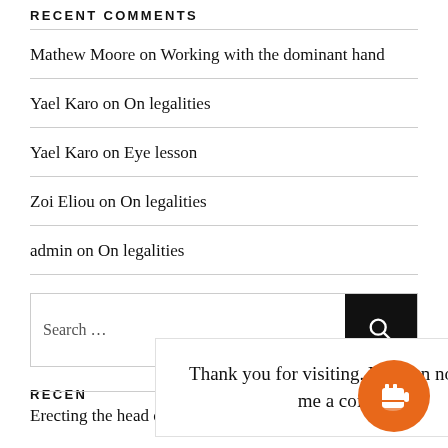RECENT COMMENTS
Mathew Moore on Working with the dominant hand
Yael Karo on On legalities
Yael Karo on Eye lesson
Zoi Eliou on On legalities
admin on On legalities
Search …
RECEN
Thank you for visiting. You can now buy me a coffee!
Erecting the head over the elbows